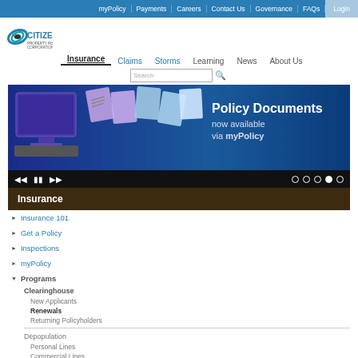myPolicy | Payments | Careers | Contact Us | Governance | FAQs | Login
[Figure (logo): Citizens Property Insurance Corporation logo with teal/blue swirl graphic]
Insurance  Claims  Storms  Learning  News  About Us
[Figure (screenshot): Policy Documents now available via myPolicy banner with computer and document graphics]
Insurance
Insurance 101
Get a Policy
Inspections
myPolicy
Programs
Clearinghouse
New Applicants
Renewals
Returning Policyholders
Depopulation
Personal Lines
Commercial Lines
Depopulation Resources